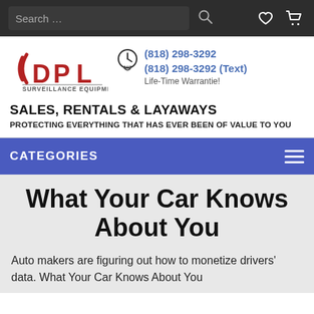Search ...
[Figure (logo): DPL Surveillance Equipment logo — red bold letters DPL with signal wave marks, text SURVEILLANCE EQUIPMENT below]
(818) 298-3292
(818) 298-3292 (Text)
Life-Time Warrantie!
SALES, RENTALS & LAYAWAYS
PROTECTING EVERYTHING THAT HAS EVER BEEN OF VALUE TO YOU
CATEGORIES
What Your Car Knows About You
Auto makers are figuring out how to monetize drivers' data. What Your Car Knows About You